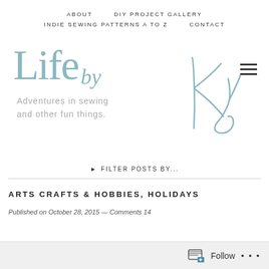ABOUT   DIY PROJECT GALLERY   INDIE SEWING PATTERNS A TO Z   CONTACT
[Figure (logo): Life by Ky blog logo with stylized text and handwritten signature. Tagline: Adventures in sewing and other fun things.]
▶ FILTER POSTS BY...
ARTS CRAFTS & HOBBIES, HOLIDAYS
Published on October 28, 2015 — Comments 14